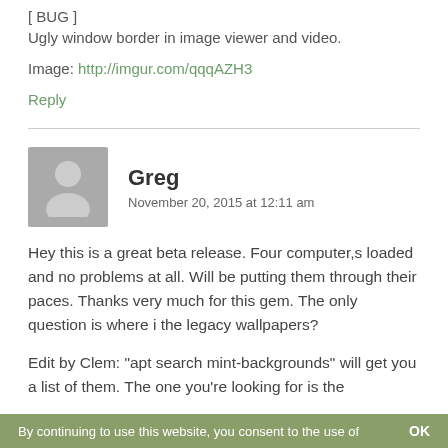[ BUG ]
Ugly window border in image viewer and video.
Image: http://imgur.com/qqqAZH3
Reply
Greg
November 20, 2015 at 12:11 am
Hey this is a great beta release. Four computer,s loaded and no problems at all. Will be putting them through their paces. Thanks very much for this gem. The only question is where i the legacy wallpapers?
Edit by Clem: “apt search mint-backgrounds” will get you a list of them. The one you’re looking for is the
By continuing to use this website, you consent to the use of    OK